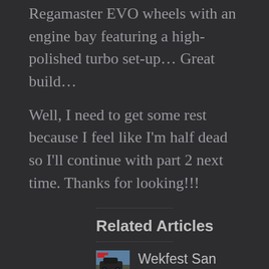Regamaster EVO wheels with an engine bay featuring a high-polished turbo set-up… Great build…
Well, I need to get some rest because I feel like I'm half dead so I'll continue with part 2 next time. Thanks for looking!!!
Related Articles
Wekfest San Jose 2022 in Photos – Part 2